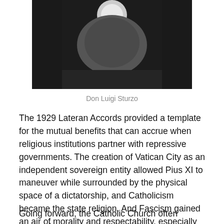[Figure (photo): Black and white close-up photograph of Don Luigi Sturzo, showing head and upper body against a dark background.]
Don Luigi Sturzo
The 1929 Lateran Accords provided a template for the mutual benefits that can accrue when religious institutions partner with repressive governments. The creation of Vatican City as an independent sovereign entity allowed Pius XI to maneuver while surrounded by the physical space of a dictatorship, and Catholicism became the state religion. And Fascism gained an air of morality and respectability, especially when the Pope declared that Providence “had placed Il Duce in our path.”
Going forward, the Catholic Church often propped up